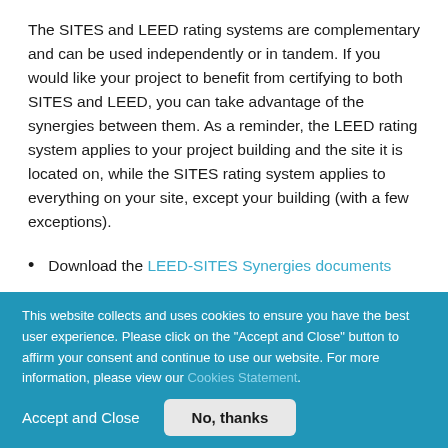The SITES and LEED rating systems are complementary and can be used independently or in tandem. If you would like your project to benefit from certifying to both SITES and LEED, you can take advantage of the synergies between them. As a reminder, the LEED rating system applies to your project building and the site it is located on, while the SITES rating system applies to everything on your site, except your building (with a few exceptions).
Download the LEED-SITES Synergies documents
This website collects and uses cookies to ensure you have the best user experience. Please click on the "Accept and Close" button to affirm your consent and continue to use our website. For more information, please view our Cookies Statement.
Accept and Close | No, thanks